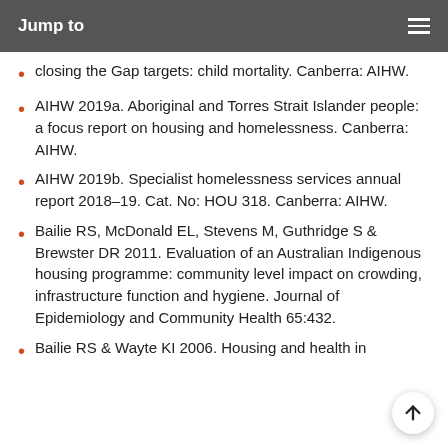Jump to
closing the Gap targets: child mortality. Canberra: AIHW.
AIHW 2019a. Aboriginal and Torres Strait Islander people: a focus report on housing and homelessness. Canberra: AIHW.
AIHW 2019b. Specialist homelessness services annual report 2018–19. Cat. No: HOU 318. Canberra: AIHW.
Bailie RS, McDonald EL, Stevens M, Guthridge S & Brewster DR 2011. Evaluation of an Australian Indigenous housing programme: community level impact on crowding, infrastructure function and hygiene. Journal of Epidemiology and Community Health 65:432.
Bailie RS & Wayte KI 2006. Housing and health in